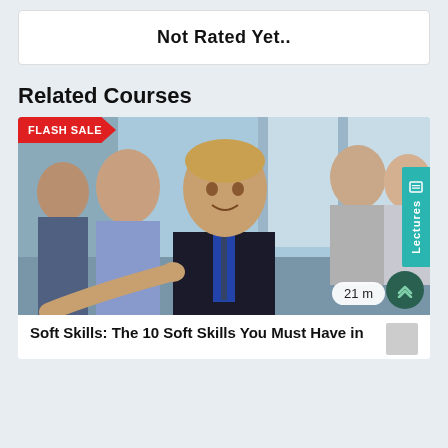Not Rated Yet..
Related Courses
[Figure (photo): Professional business people group with a man in the foreground extending a handshake. Flash Sale badge in top left corner. Lectures tab on right side. Duration badge showing '21 m' and a scroll-up button at bottom right.]
Soft Skills: The 10 Soft Skills You Must Have in